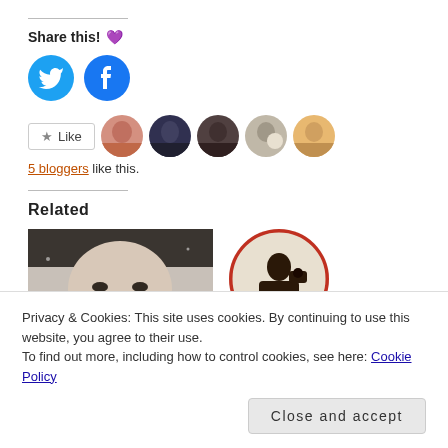Share this! 💜
[Figure (logo): Twitter and Facebook share buttons (circular icons)]
[Figure (other): Like button and 5 blogger profile avatars]
5 bloggers like this.
Related
[Figure (photo): Black and white close-up photo of a person's face (related post thumbnail)]
[Figure (illustration): Circular image with red border showing a dark silhouette figure (related post thumbnail)]
Privacy & Cookies: This site uses cookies. By continuing to use this website, you agree to their use.
To find out more, including how to control cookies, see here: Cookie Policy
Close and accept